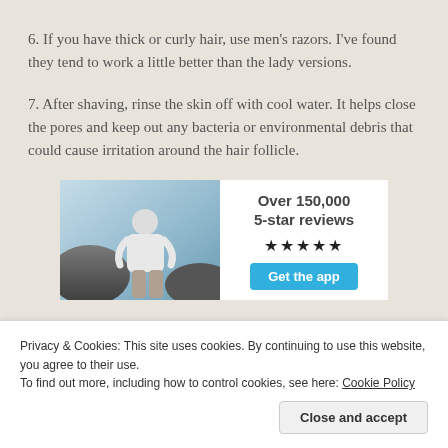6. If you have thick or curly hair, use men's razors. I've found they tend to work a little better than the lady versions.
7. After shaving, rinse the skin off with cool water. It helps close the pores and keep out any bacteria or environmental debris that could cause irritation around the hair follicle.
[Figure (infographic): Advertisement banner with photo of person in white t-shirt on left, and text 'Over 150,000 5-star reviews' with star rating and 'Get the app' button on right]
Privacy & Cookies: This site uses cookies. By continuing to use this website, you agree to their use.
To find out more, including how to control cookies, see here: Cookie Policy
Close and accept